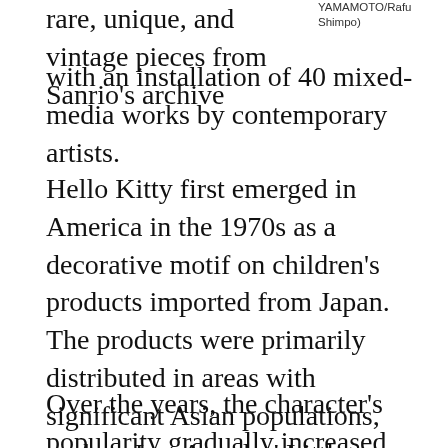rare, unique, and vintage pieces from Sanrio's archive with an installation of 40 mixed-media works by contemporary artists.
YAMAMOTO/Rafu Shimpo)
Hello Kitty first emerged in America in the 1970s as a decorative motif on children's products imported from Japan. The products were primarily distributed in areas with significant Asian populations, such as Los Angeles' Little Tokyo, where JANM is located today.
Over the years, the character's popularity gradually increased, capturing the